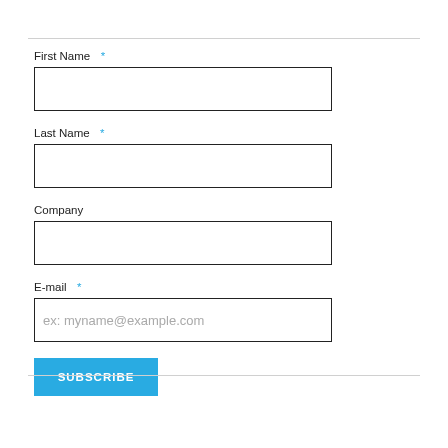First Name *
Last Name *
Company
E-mail *
ex: myname@example.com
SUBSCRIBE